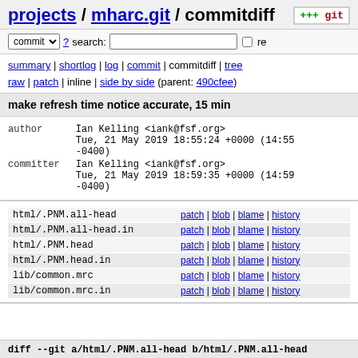projects / mharc.git / commitdiff
commit search: re
summary | shortlog | log | commit | commitdiff | tree
raw | patch | inline | side by side (parent: 490cfee)
make refresh time notice accurate, 15 min
author   Ian Kelling <iank@fsf.org>
         Tue, 21 May 2019 18:55:24 +0000 (14:55 -0400)
committer Ian Kelling <iank@fsf.org>
         Tue, 21 May 2019 18:59:35 +0000 (14:59 -0400)
| file | links |
| --- | --- |
| html/.PNM.all-head | patch | blob | blame | history |
| html/.PNM.all-head.in | patch | blob | blame | history |
| html/.PNM.head | patch | blob | blame | history |
| html/.PNM.head.in | patch | blob | blame | history |
| lib/common.mrc | patch | blob | blame | history |
| lib/common.mrc.in | patch | blob | blame | history |
diff --git a/html/.PNM.all-head b/html/.PNM.all-head